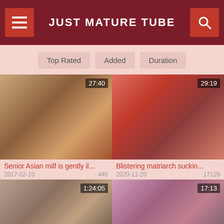JUST MATURE TUBE
Top Rated
Added
Duration
[Figure (photo): Video thumbnail 1 with duration 27:40]
Senior Asian milf is gently il... | 2017-02-10 | 445
[Figure (photo): Video thumbnail 2 with duration 29:19]
Blistering matriarch suckin... | 2020-11-20 | 17129
[Figure (photo): Video thumbnail 3 with duration 1:24:05]
[Figure (photo): Video thumbnail 4 with duration 17:13]